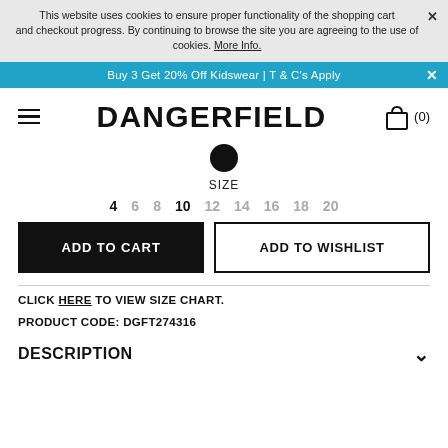This website uses cookies to ensure proper functionality of the shopping cart and checkout progress. By continuing to browse the site you are agreeing to the use of cookies. More Info.
Buy 3 Get 20% Off Kidswear | T & C's Apply
DANGERFIELD (0)
[Figure (infographic): Black filled circle swatch indicating selected color, labeled SIZE below]
4  6  8  10  12  14  16  18  20
ADD TO CART    ADD TO WISHLIST
CLICK HERE TO VIEW SIZE CHART.
PRODUCT CODE: DGFT274316
DESCRIPTION